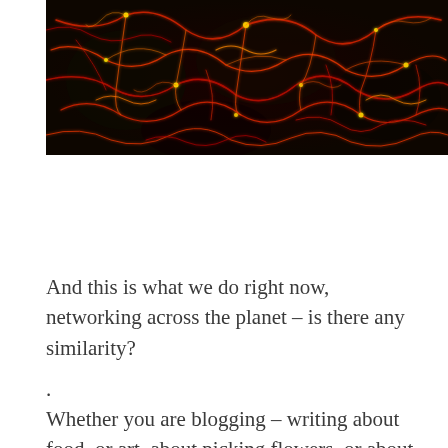[Figure (photo): Close-up abstract photo of glowing neural network-like structures with red, orange, and yellow filaments on a dark background, resembling neurons or cosmic web structure.]
And this is what we do right now, networking across the planet – is there any similarity?
.
Whether you are blogging – writing about food, or art, about picking flowers, or about the